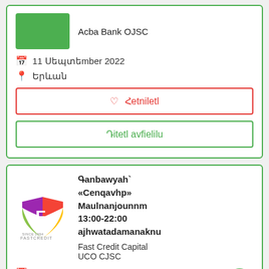[Figure (logo): Green rectangle logo placeholder for Acba Bank OJSC]
Acba Bank OJSC
11 Սեպտեմբep 2022
Երևան
♡ Հےտnlel
Դiteli avfielilu
[Figure (logo): FastCredit colorful logo with F letter and FASTCREDIT text]
Գanbawyah` «Cenqavhp» Maulnanjounnm 13:00-22:00 ajhwatadamanaknu
Fast Credit Capital UCO CJSC
25 Oqnuunnu 2022
Երևaan